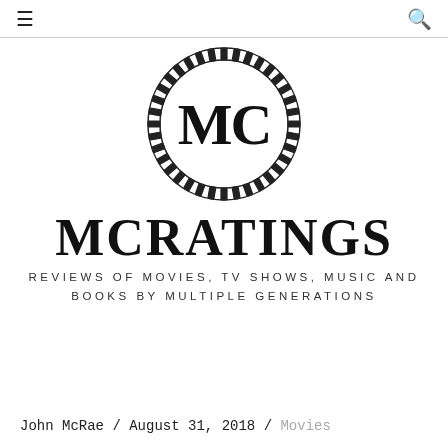≡  🔍
[Figure (logo): MCRatings logo: circular film reel border containing bold letters MC in center]
MCRATINGS
REVIEWS OF MOVIES, TV SHOWS, MUSIC AND BOOKS BY MULTIPLE GENERATIONS
John McRae / August 31, 2018 / Movies